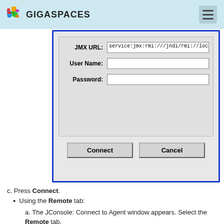GIGASPACES
[Figure (screenshot): JConsole Connect to Agent dialog box showing JMX URL field filled with 'service:jmx:rmi:///jndi/rmi://localho', empty User Name field, empty Password field, and Connect/Cancel buttons at the bottom.]
c. Press Connect.
Using the Remote tab:
a. The JConsole: Connect to Agent window appears. Select the Remote tab.
b. In the Host or IP text box, copy the host name/IP address from JNDI URL text field in the container configuration.
c. In the Port text box, copy the port value from the same JNDI URL text field in the container